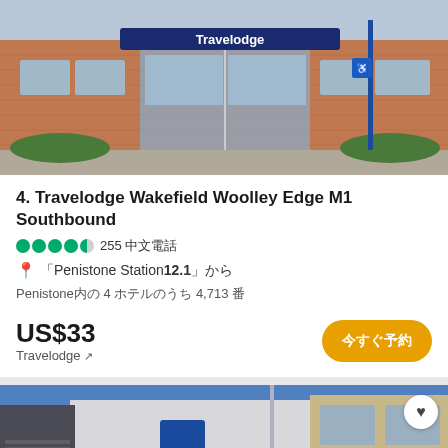[Figure (photo): Travelodge hotel exterior showing entrance with Travelodge signage, brick building, glass doors, parking area and hedges]
4. Travelodge Wakefield Woolley Edge M1 Southbound
255 reviews, 4.5 star rating
Penistone Station 12.1 km
Penistone内の 4 ホテルのうち 4,713 番
US$33
Travelodge ↗
今すぐ予約
[Figure (photo): Second Travelodge hotel exterior with grey and white modern building facade, blue Travelodge sign visible, blue sky background]